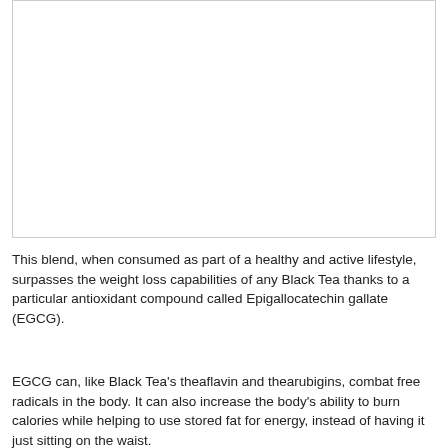[Figure (photo): Large image placeholder with thin border, no visible content (white/blank area).]
This blend, when consumed as part of a healthy and active lifestyle, surpasses the weight loss capabilities of any Black Tea thanks to a particular antioxidant compound called Epigallocatechin gallate (EGCG).
EGCG can, like Black Tea's theaflavin and thearubigins, combat free radicals in the body. It can also increase the body's ability to burn calories while helping to use stored fat for energy, instead of having it just sitting on the waist.